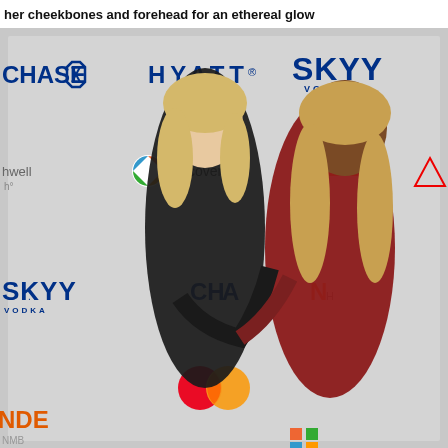her cheekbones and forehead for an ethereal glow
[Figure (photo): Two women posing together in front of a sponsor backdrop wall featuring logos including Chase, Hyatt, SKYY Vodka, discovery+, Mastercard, and NDE. The woman on the left wears a black outfit with blonde hair; the woman on the right wears a red patterned outfit with long blonde hair. They are hugging and smiling.]